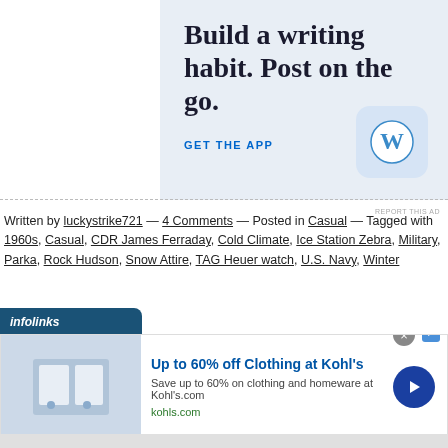[Figure (screenshot): WordPress mobile app advertisement with light blue background. Large serif text reads 'Build a writing habit. Post on the go.' with 'GET THE APP' link and WordPress logo icon in bottom right.]
REPORT THIS AD
Written by luckystrike721 — 4 Comments — Posted in Casual — Tagged with 1960s, Casual, CDR James Ferraday, Cold Climate, Ice Station Zebra, Military, Parka, Rock Hudson, Snow Attire, TAG Heuer watch, U.S. Navy, Winter
[Figure (screenshot): Infolinks advertisement label bar (dark blue with white italic text 'infolinks') above a Kohl's ad. Kohl's ad reads 'Up to 60% off Clothing at Kohl's' with 'Save up to 60% on clothing and homeware at Kohl's.com' and 'kohls.com' URL, with a navy blue arrow button on the right.]